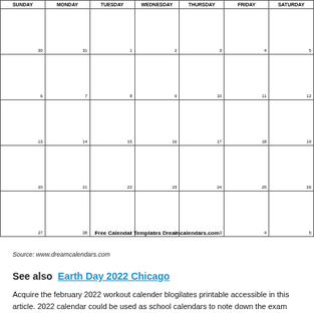| SUNDAY | MONDAY | TUESDAY | WEDNESDAY | THURSDAY | FRIDAY | SATURDAY |
| --- | --- | --- | --- | --- | --- | --- |
| 30 | 31 | 1 | 2 | 3 | 4 | 5 |
| 6 | 7 | 8 | 9 | 10 | 11 | 12 |
| 13 | 14 | 15 | 16 | 17 | 18 | 19 |
| 20 | 21 | 22 | 23 | 24 | 25 | 26 |
| 27 | 28 | 1 | 2 | 3 | 4 | 5 |
Free Calendar Templates Dreamcalendars.com
Source: www.dreamcalendars.com
See also  Earth Day 2022 Chicago
Acquire the february 2022 workout calender blogilates printable accessible in this article. 2022 calendar could be used as school calendars to note down the exam timetable, as college calendars to